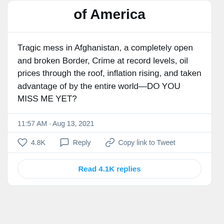of America
Tragic mess in Afghanistan, a completely open and broken Border, Crime at record levels, oil prices through the roof, inflation rising, and taken advantage of by the entire world—DO YOU MISS ME YET?
11:57 AM · Aug 13, 2021
4.8K   Reply   Copy link to Tweet
Read 4.1K replies